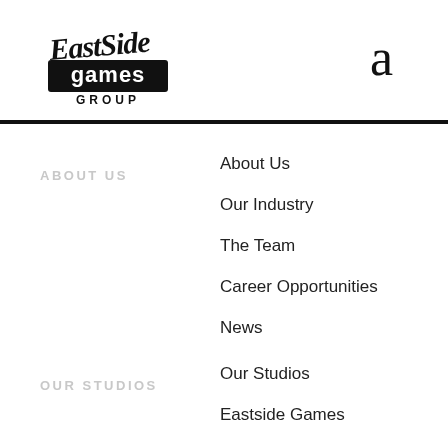[Figure (logo): EastSide Games Group logo — stylized graffiti text 'EastSide games GROUP']
a
ABOUT US
About Us
Our Industry
The Team
Career Opportunities
News
OUR STUDIOS
Our Studios
Eastside Games